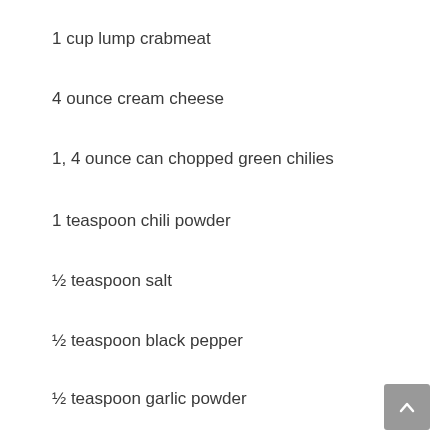1 cup lump crabmeat
4 ounce cream cheese
1, 4 ounce can chopped green chilies
1 teaspoon chili powder
½ teaspoon salt
½ teaspoon black pepper
½ teaspoon garlic powder